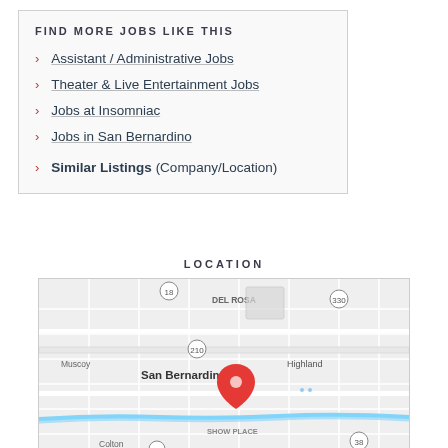FIND MORE JOBS LIKE THIS
Assistant / Administrative Jobs
Theater & Live Entertainment Jobs
Jobs at Insomniac
Jobs in San Bernardino
Similar Listings (Company/Location)
LOCATION
[Figure (map): Google map showing San Bernardino area with a red location pin marker near San Bernardino, showing Del Rosa, Highland, Colton, Show Place, Muscoy areas and routes 18, 210, 330, 38, 10.]